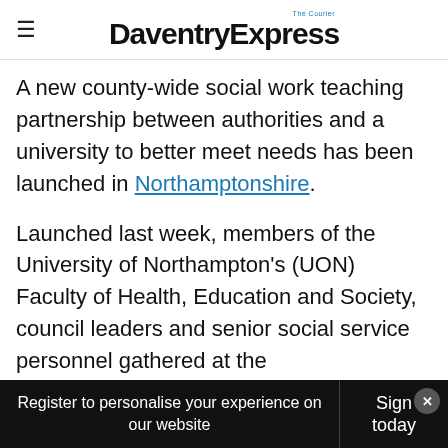Daventry Express
A new county-wide social work teaching partnership between authorities and a university to better meet needs has been launched in Northamptonshire.
Launched last week, members of the University of Northampton's (UON) Faculty of Health, Education and Society, council leaders and senior social service personnel gathered at the Waterside campus to introduce the Northamptonshire Social Work Teaching
Register to personalise your experience on our website
Sign today